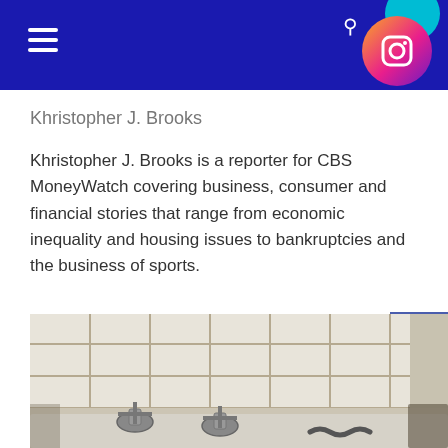Navigation header with hamburger menu and Instagram icon
Khristopher J. Brooks
Khristopher J. Brooks is a reporter for CBS MoneyWatch covering business, consumer and financial stories that range from economic inequality and housing issues to bankruptcies and the business of sports.
Source link
Taboola Feed
[Figure (photo): Photo of a dirty bathroom sink with old cross-handle faucets, stained white tile grout, and what appears to be a snake near the drain.]